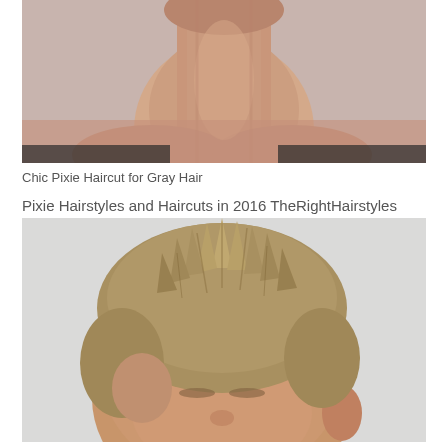[Figure (photo): Close-up photo of a person's neck and chin area against a pinkish-gray background, cropped so the face is mostly cut off at the top]
Chic Pixie Haircut for Gray Hair
Pixie Hairstyles and Haircuts in 2016 TheRightHairstyles
[Figure (photo): Close-up photo of a person with a short spiky pixie haircut in blonde/sandy tones against a light gray background, showing top and side of head]